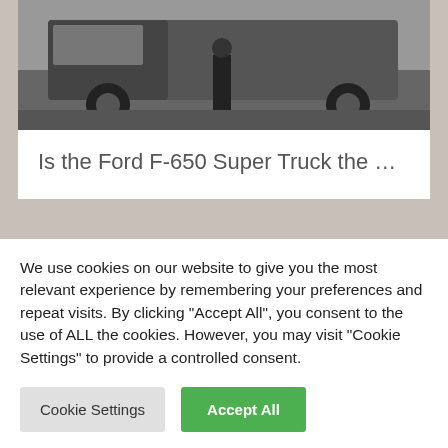[Figure (photo): Photo of a large Ford F-650 truck with a person standing in front of it, viewed from the front/side. Dark background and asphalt visible.]
Is the Ford F-650 Super Truck the …
[Figure (photo): Photo of a parking lot scene with several people standing among multiple vehicles including cars and trucks, trees visible in background.]
We use cookies on our website to give you the most relevant experience by remembering your preferences and repeat visits. By clicking "Accept All", you consent to the use of ALL the cookies. However, you may visit "Cookie Settings" to provide a controlled consent.